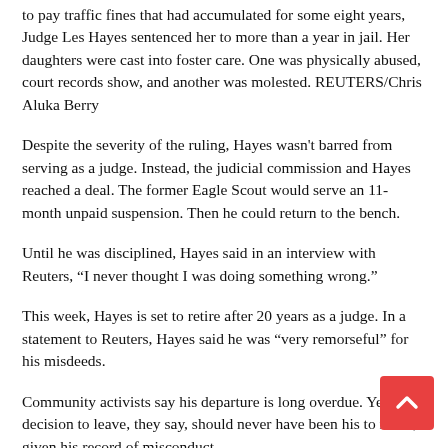to pay traffic fines that had accumulated for some eight years, Judge Les Hayes sentenced her to more than a year in jail. Her daughters were cast into foster care. One was physically abused, court records show, and another was molested. REUTERS/Chris Aluka Berry
Despite the severity of the ruling, Hayes wasn't barred from serving as a judge. Instead, the judicial commission and Hayes reached a deal. The former Eagle Scout would serve an 11-month unpaid suspension. Then he could return to the bench.
Until he was disciplined, Hayes said in an interview with Reuters, “I never thought I was doing something wrong.”
This week, Hayes is set to retire after 20 years as a judge. In a statement to Reuters, Hayes said he was “very remorseful” for his misdeeds.
Community activists say his departure is long overdue. Yet the decision to leave, they say, should never have been his to make, given his record of misconduct.